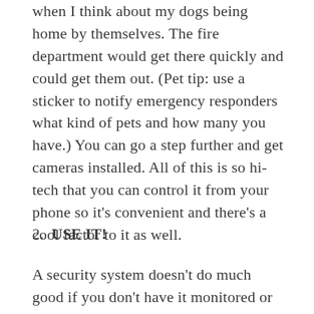when I think about my dogs being home by themselves. The fire department would get there quickly and could get them out. (Pet tip: use a sticker to notify emergency responders what kind of pets and how many you have.) You can go a step further and get cameras installed. All of this is so hi-tech that you can control it from your phone so it's convenient and there's a cool factor to it as well.
2.  USE IT!
A security system doesn't do much good if you don't have it monitored or you don't turn it on. It's not hard to